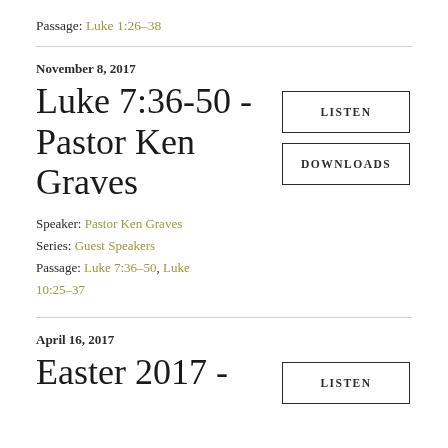Passage: Luke 1:26–38
November 8, 2017
Luke 7:36-50 - Pastor Ken Graves
Speaker: Pastor Ken Graves
Series: Guest Speakers
Passage: Luke 7:36–50, Luke 10:25–37
LISTEN
DOWNLOADS
April 16, 2017
Easter 2017 -
LISTEN